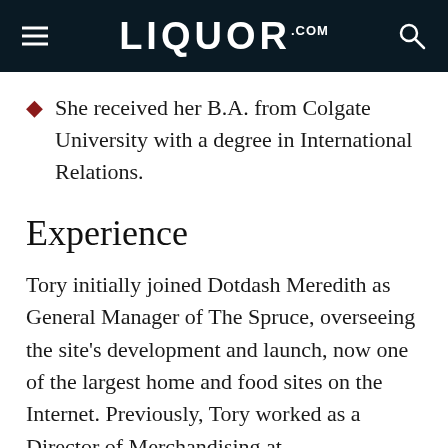LIQUOR.COM
She received her B.A. from Colgate University with a degree in International Relations.
Experience
Tory initially joined Dotdash Meredith as General Manager of The Spruce, overseeing the site's development and launch, now one of the largest home and food sites on the Internet. Previously, Tory worked as a Director of Merchandising at Quidsi/Amazon and prior to that, she held the role of Managing Director of iVillage in the UK.